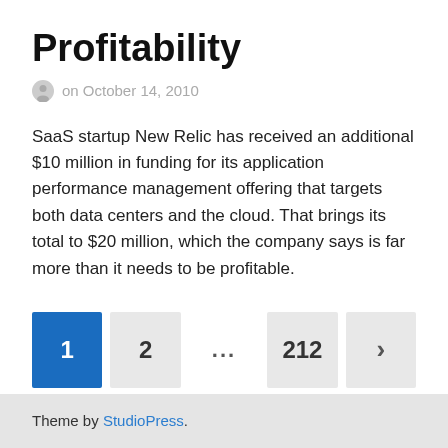Profitability
on October 14, 2010
SaaS startup New Relic has received an additional $10 million in funding for its application performance management offering that targets both data centers and the cloud. That brings its total to $20 million, which the company says is far more than it needs to be profitable.
Theme by StudioPress.